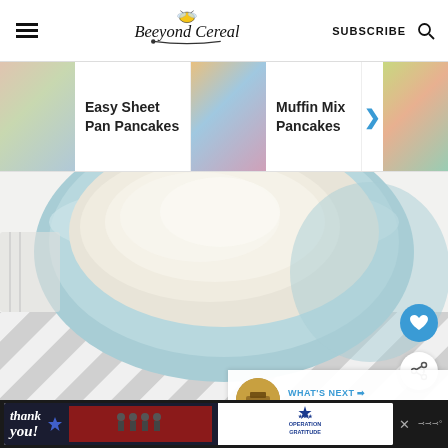Beeyond Cereal | SUBSCRIBE
[Figure (screenshot): Carousel of recipe cards: Easy Sheet Pan Pancakes, Muffin Mix Pancakes, Simple Crepes (Pancake Mix)]
[Figure (photo): Close-up overhead photo of a light blue bowl containing oatmeal or porridge on a grey and white diagonal striped linen surface]
FAQs
[Figure (infographic): Advertisement banner: Thank you with Operation Gratitude firefighters image]